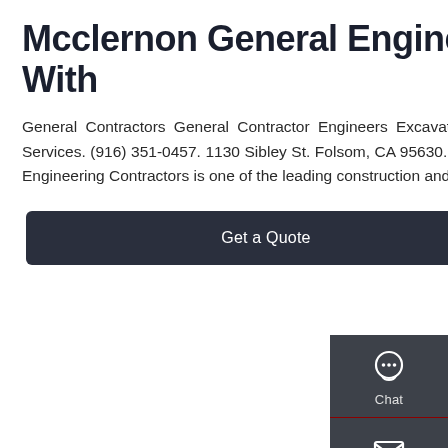Mcclernon General Engineering In Elk Grove, CA With
General Contractors General Contractor Engineers Excavation Contractors. 66. YEARS. IN BUSINESS. Website Services. (916) 351-0457. 1130 Sibley St. Folsom, CA 95630. From Business: Founded in 1955, Syblon Reid, General Engineering Contractors is one of the leading construction and engineering companies in the United States.
Get a Quote
[Figure (infographic): Right sidebar with Chat, Email, and Contact buttons on dark grey background]